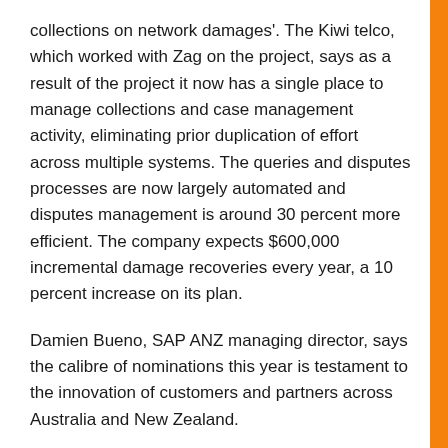collections on network damages'. The Kiwi telco, which worked with Zag on the project, says as a result of the project it now has a single place to manage collections and case management activity, eliminating prior duplication of effort across multiple systems. The queries and disputes processes are now largely automated and disputes management is around 30 percent more efficient. The company expects $600,000 incremental damage recoveries every year, a 10 percent increase on its plan.
Damien Bueno, SAP ANZ managing director, says the calibre of nominations this year is testament to the innovation of customers and partners across Australia and New Zealand.
“What’s more, achieving this through another year impacted by the pandemic demonstrates the resilience and drive of our ecosystem,” he says.
Lion took out the CRM and Customer Experience category, for an ambitious transformation programme to create ‘the Next Generation’ by utilising SAP CX cloud applications...